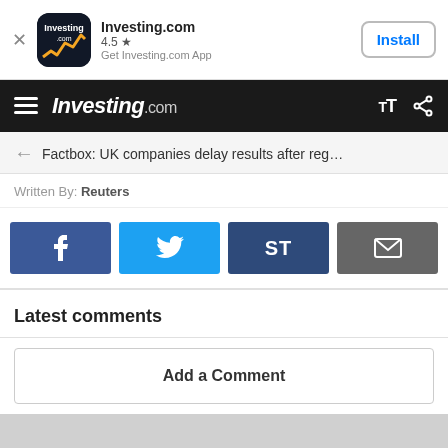[Figure (screenshot): Investing.com app install banner with app icon, 4.5 star rating, and Install button]
Investing.com navbar with hamburger menu, Investing.com logo, TT and share icons
Factbox: UK companies delay results after reg…
Written By: Reuters
[Figure (infographic): Social share buttons: Facebook, Twitter, ST, Email]
Latest comments
Add a Comment